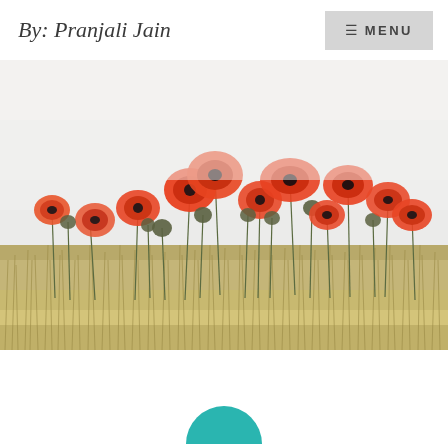By: Pranjali Jain
[Figure (photo): A field of red/orange poppy flowers growing among tall golden grasses against a pale misty sky background.]
[Figure (other): Partial teal/cyan circle visible at the bottom center of the page.]